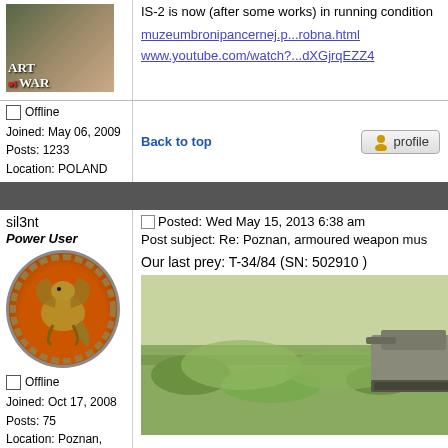[Figure (screenshot): Forum page showing two user posts about Poznan armoured weapon museum. Top post has Art of War avatar, user info (Joined May 06 2009, Posts 1233, Location POLAND) and links. Bottom post from 'sil3nt' Power User with dragon avatar (Joined Oct 17 2008, Posts 75, Location Poznan Poland), posting about T-34/84 SN 502910 with a field/tank photo.]
IS-2 is now (after some works) in running condition
muzeumbronipancernej.p...robna.html
www.youtube.com/watch?...dXGjrqEZZ4
Offline
Joined: May 06, 2009
Posts: 1233
Location: POLAND
Back to top
sil3nt
Power User
Offline
Joined: Oct 17, 2008
Posts: 75
Location: Poznan, Poland
Posted: Wed May 15, 2013 6:38 am
Post subject: Re: Poznan, armoured weapon mus...
Our last prey: T-34/84 (SN: 502910 )
[Figure (photo): Outdoor field photo showing grass/vegetation and what appears to be a tank or armored vehicle partially visible on the right side]